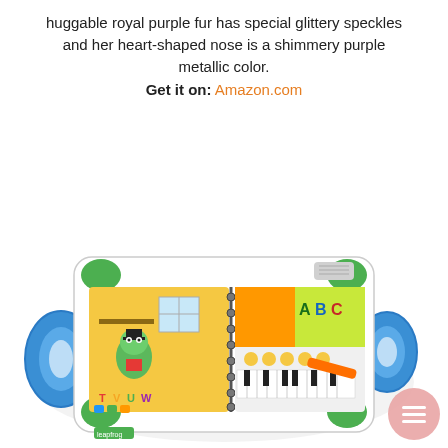huggable royal purple fur has special glittery speckles and her heart-shaped nose is a shimmery purple metallic color. Get it on: Amazon.com
[Figure (photo): LeapFrog interactive learning book toy open showing colorful illustrated pages with a frog character and ABC letters, piano keys, and a stylus. The device has blue handles and green corners.]